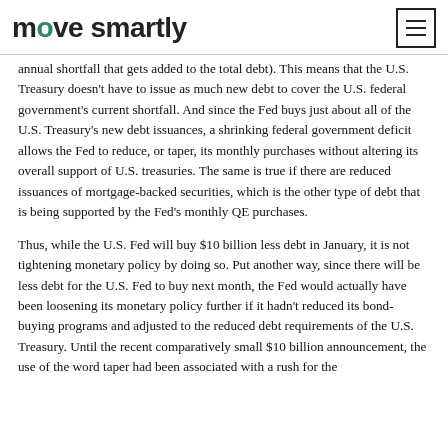move smartly
annual shortfall that gets added to the total debt). This means that the U.S. Treasury doesn't have to issue as much new debt to cover the U.S. federal government's current shortfall. And since the Fed buys just about all of the U.S. Treasury's new debt issuances, a shrinking federal government deficit allows the Fed to reduce, or taper, its monthly purchases without altering its overall support of U.S. treasuries. The same is true if there are reduced issuances of mortgage-backed securities, which is the other type of debt that is being supported by the Fed's monthly QE purchases.
Thus, while the U.S. Fed will buy $10 billion less debt in January, it is not tightening monetary policy by doing so. Put another way, since there will be less debt for the U.S. Fed to buy next month, the Fed would actually have been loosening its monetary policy further if it hadn't reduced its bond-buying programs and adjusted to the reduced debt requirements of the U.S. Treasury. Until the recent comparatively small $10 billion announcement, the use of the word taper had been associated with a rush for the